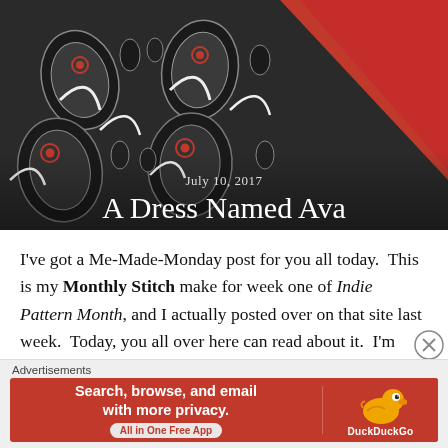[Figure (photo): Close-up photo of a fabric with black, white, red and grey paisley/teardrop pattern, with red fabric visible in the upper right corner. Blog post header image.]
July 10, 2017
A Dress Named Ava
I've got a Me-Made-Monday post for you all today.  This is my Monthly Stitch make for week one of Indie Pattern Month, and I actually posted over on that site last week.  Today, you all over here can read about it.  I'm hoping to get another pattern cut out and made very soon, so I can
Advertisements
[Figure (screenshot): DuckDuckGo advertisement banner: 'Search, browse, and email with more privacy. All in One Free App' with DuckDuckGo duck logo on red background.]